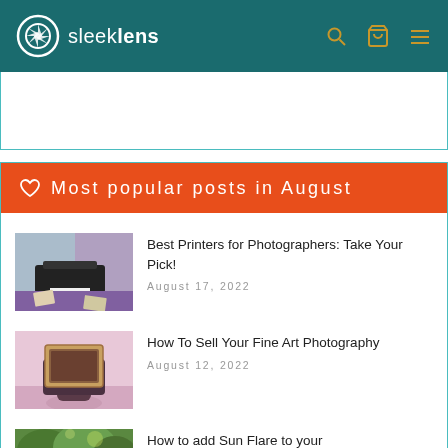sleeklens
♡ Most popular posts in August
[Figure (photo): Black printer on a purple mat in a room with large windows, printed photos scattered around]
Best Printers for Photographers: Take Your Pick!
August 17, 2022
[Figure (photo): Person holding a large framed artwork or canvas in front of their face, standing on a pink surface]
How To Sell Your Fine Art Photography
August 12, 2022
[Figure (photo): Tropical green foliage scene, partial view at bottom of page]
How to add Sun Flare to your